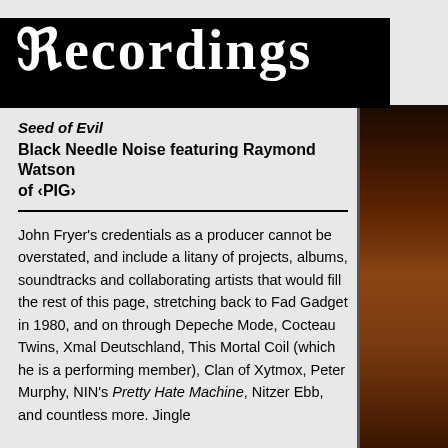Recordings
Seed of Evil
Black Needle Noise featuring Raymond Watson of ‹PIG›
John Fryer's credentials as a producer cannot be overstated, and include a litany of projects, albums, soundtracks and collaborating artists that would fill the rest of this page, stretching back to Fad Gadget in 1980, and on through Depeche Mode, Cocteau Twins, Xmal Deutschland, This Mortal Coil (which he is a performing member), Clan of Xytmox, Peter Murphy, NIN's Pretty Hate Machine, Nitzer Ebb, and countless more. Jingle
[Figure (photo): Dark reddish-brown abstract photo on the right side of the page, partially visible]